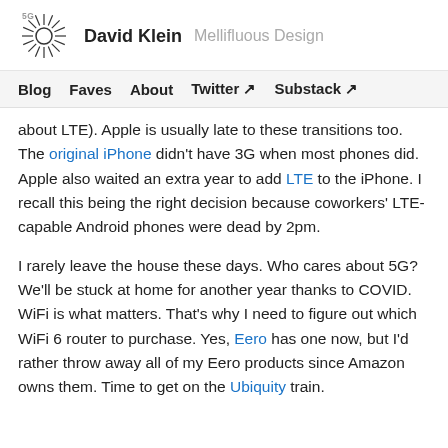David Klein   Mellifluous Design
Blog  Faves  About  Twitter ↗  Substack ↗
about LTE). Apple is usually late to these transitions too. The original iPhone didn't have 3G when most phones did. Apple also waited an extra year to add LTE to the iPhone. I recall this being the right decision because coworkers' LTE-capable Android phones were dead by 2pm.
I rarely leave the house these days. Who cares about 5G? We'll be stuck at home for another year thanks to COVID. WiFi is what matters. That's why I need to figure out which WiFi 6 router to purchase. Yes, Eero has one now, but I'd rather throw away all of my Eero products since Amazon owns them. Time to get on the Ubiquity train.